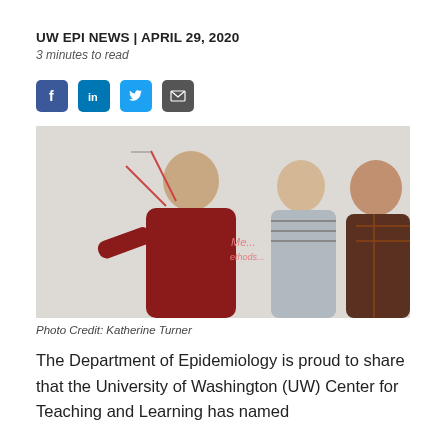UW EPI NEWS | APRIL 29, 2020
3 minutes to read
[Figure (photo): A man in a red sweater pointing at a whiteboard, with two students (a blonde woman in a striped shirt and a man in a plaid shirt) looking on.]
Photo Credit: Katherine Turner
The Department of Epidemiology is proud to share that the University of Washington (UW) Center for Teaching and Learning has named